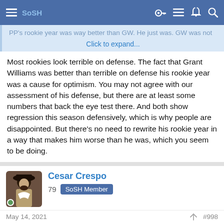SoSH
PP's rookie year was way better than GW. He just was. GW was not
Click to expand...
Most rookies look terrible on defense. The fact that Grant Williams was better than terrible on defense his rookie year was a cause for optimism. You may not agree with our assessment of his defense, but there are at least some numbers that back the eye test there. And both show regression this season defensively, which is why people are disappointed. But there's no need to rewrite his rookie year in a way that makes him worse than he was, which you seem to be doing.
Cesar Crespo
79  SoSH Member
May 14, 2021  #998
lexrageorge said:
Most rookies look terrible on defense. The fact that Grant Williams